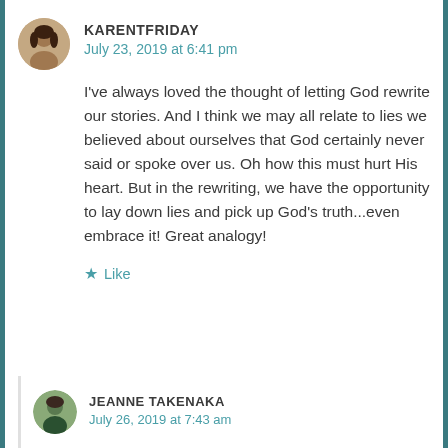KARENTFRIDAY
July 23, 2019 at 6:41 pm
I've always loved the thought of letting God rewrite our stories. And I think we may all relate to lies we believed about ourselves that God certainly never said or spoke over us. Oh how this must hurt His heart. But in the rewriting, we have the opportunity to lay down lies and pick up God's truth...even embrace it! Great analogy!
Like
JEANNE TAKENAKA
July 26, 2019 at 7:43 am